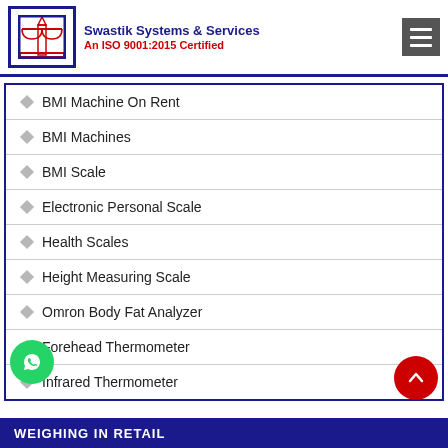Swastik Systems & Services — An ISO 9001:2015 Certified
BMI Machine On Rent
BMI Machines
BMI Scale
Electronic Personal Scale
Health Scales
Height Measuring Scale
Omron Body Fat Analyzer
Forehead Thermometer
Infrared Thermometer
WEIGHING IN RETAIL